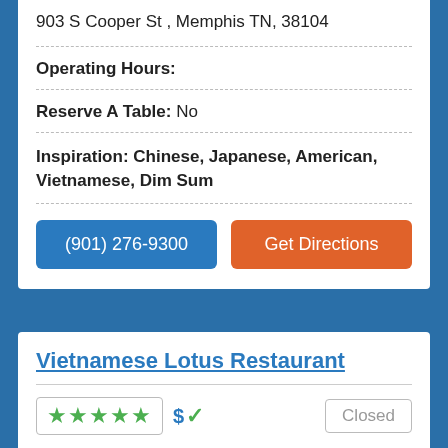903 S Cooper St , Memphis TN, 38104
Operating Hours:
Reserve A Table: No
Inspiration: Chinese, Japanese, American, Vietnamese, Dim Sum
(901) 276-9300
Get Directions
Vietnamese Lotus Restaurant
★★★★★ $✓ Closed
4970 Summer Ave , Memphis TN, 38122